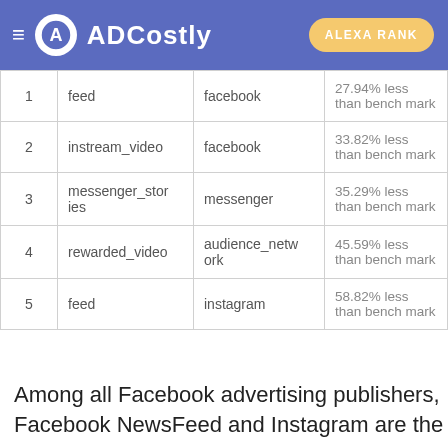ADCostly | ALEXA RANK
| # | Placement | Publisher | Benchmark |
| --- | --- | --- | --- |
| 1 | feed | facebook | 27.94% less than bench mark |
| 2 | instream_video | facebook | 33.82% less than bench mark |
| 3 | messenger_stories | messenger | 35.29% less than bench mark |
| 4 | rewarded_video | audience_network | 45.59% less than bench mark |
| 5 | feed | instagram | 58.82% less than bench mark |
Among all Facebook advertising publishers, Facebook NewsFeed and Instagram are the